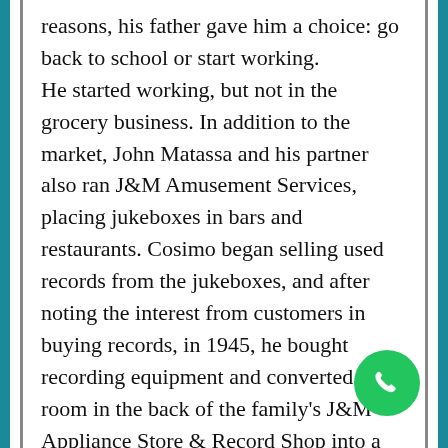reasons, his father gave him a choice: go back to school or start working. He started working, but not in the grocery business. In addition to the market, John Matassa and his partner also ran J&M Amusement Services, placing jukeboxes in bars and restaurants. Cosimo began selling used records from the jukeboxes, and after noting the interest from customers in buying records, in 1945, he bought recording equipment and converted a room in the back of the family's J&M Appliance Store & Record Shop into a "studio." The room was only 15-by-16 feet in size, a control room "as big as my four fingers,"
[Figure (illustration): Green circular phone/call button in the bottom-right area of the page]